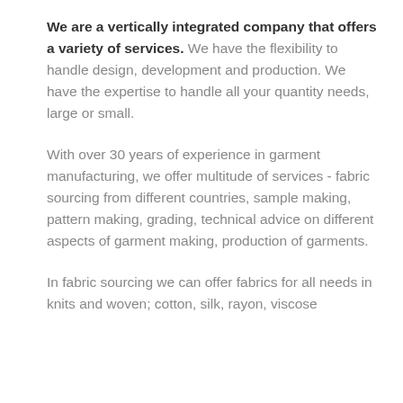We are a vertically integrated company that offers a variety of services.  We have the flexibility to handle design, development and production.  We have the expertise to handle all your quantity needs, large or small.
With over 30 years of experience in garment manufacturing, we offer multitude of services - fabric sourcing from different countries, sample making, pattern making, grading, technical advice on different aspects of garment making, production of garments.
In fabric sourcing we can offer fabrics for all needs in knits and woven; cotton, silk, rayon, viscose...